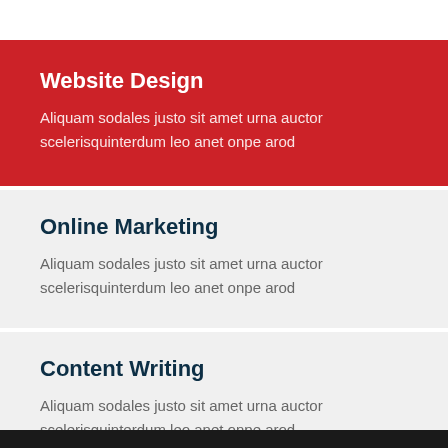Website Design
Aliquam sodales justo sit amet urna auctor scelerisquinterdum leo anet onpe arod
Online Marketing
Aliquam sodales justo sit amet urna auctor scelerisquinterdum leo anet onpe arod
Content Writing
Aliquam sodales justo sit amet urna auctor scelerisquinterdum leo anet onpe arod
[Figure (photo): Dark strip at bottom of page, partial photo visible]